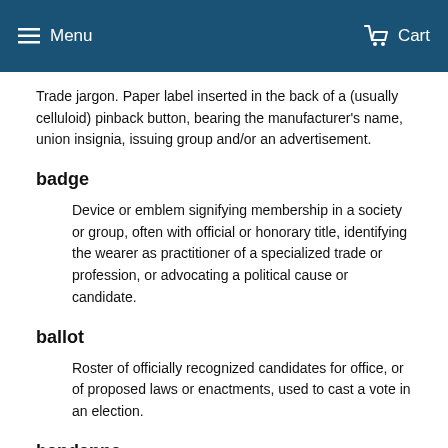Menu  Cart
Trade jargon. Paper label inserted in the back of a (usually celluloid) pinback button, bearing the manufacturer's name, union insignia, issuing group and/or an advertisement.
badge
Device or emblem signifying membership in a society or group, often with official or honorary title, identifying the wearer as practitioner of a specialized trade or profession, or advocating a political cause or candidate.
ballot
Roster of officially recognized candidates for office, or of proposed laws or enactments, used to cast a vote in an election.
bandanna
Square of cloth, larger than a kerchief, usually with a decorative border and central design, intended for use as a